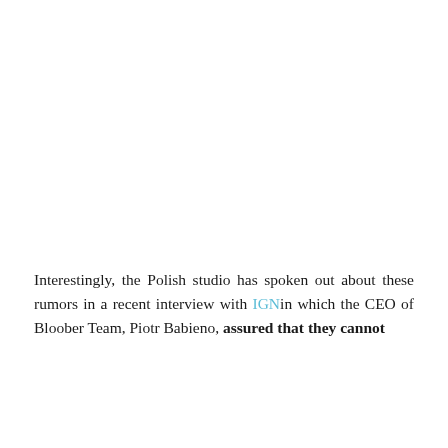Interestingly, the Polish studio has spoken out about these rumors in a recent interview with IGNin which the CEO of Bloober Team, Piotr Babieno, assured that they cannot